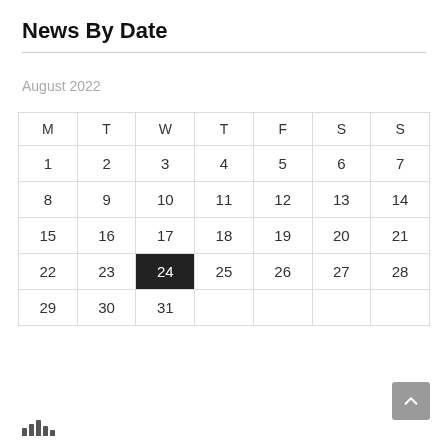News By Date
August 2022
| M | T | W | T | F | S | S |
| --- | --- | --- | --- | --- | --- | --- |
| 1 | 2 | 3 | 4 | 5 | 6 | 7 |
| 8 | 9 | 10 | 11 | 12 | 13 | 14 |
| 15 | 16 | 17 | 18 | 19 | 20 | 21 |
| 22 | 23 | 24 | 25 | 26 | 27 | 28 |
| 29 | 30 | 31 |  |  |  |  |